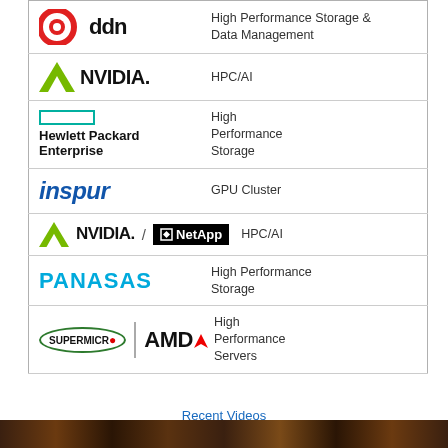| Logo | Description |
| --- | --- |
| DDN | High Performance Storage & Data Management |
| NVIDIA | HPC/AI |
| Hewlett Packard Enterprise | High Performance Storage |
| inspur | GPU Cluster |
| NVIDIA / NetApp | HPC/AI |
| PANASAS | High Performance Storage |
| Supermicro + AMD | High Performance Servers |
Recent Videos
LATEST VIDEO
[Figure (photo): Video thumbnail strip at bottom of page]